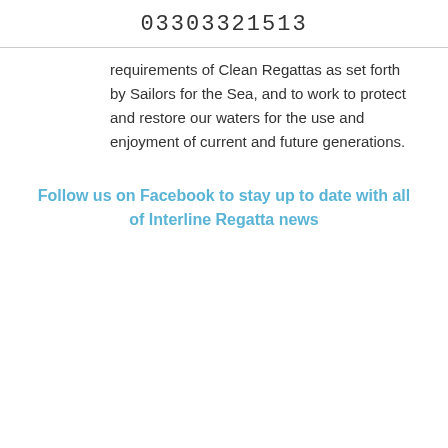03303321513
requirements of Clean Regattas as set forth by Sailors for the Sea, and to work to protect and restore our waters for the use and enjoyment of current and future generations.
Follow us on Facebook to stay up to date with all of Interline Regatta news